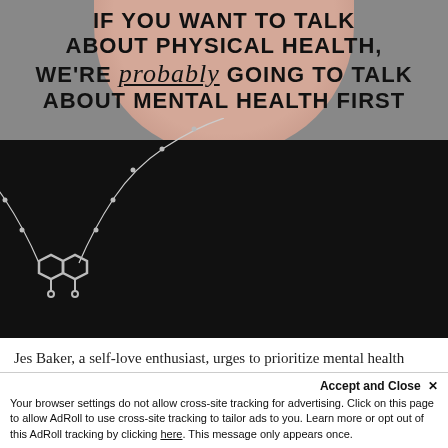[Figure (photo): Photo of person wearing a serotonin molecule necklace on black background, partially overlaid with white text block about mental health. Top portion shows skin/chin, large black area with silver chain and hexagonal serotonin pendant necklace.]
Jes Baker, a self-love enthusiast, urges to prioritize mental health during the pandemic.
Accept and Close ×
Your browser settings do not allow cross-site tracking for advertising. Click on this page to allow AdRoll to use cross-site tracking to tailor ads to you. Learn more or opt out of this AdRoll tracking by clicking here. This message only appears once.